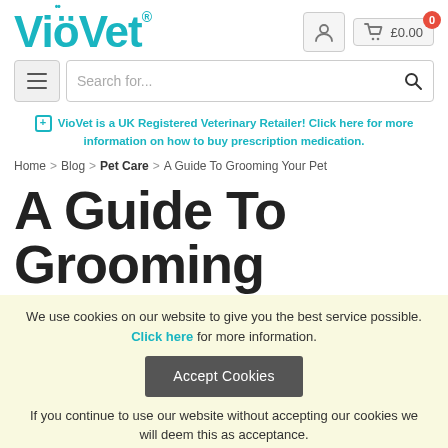VioVet logo header with user icon and cart showing £0.00
Search for...
VioVet is a UK Registered Veterinary Retailer! Click here for more information on how to buy prescription medication.
Home > Blog > Pet Care > A Guide To Grooming Your Pet
A Guide To Grooming
We use cookies on our website to give you the best service possible. Click here for more information.
Accept Cookies
If you continue to use our website without accepting our cookies we will deem this as acceptance.